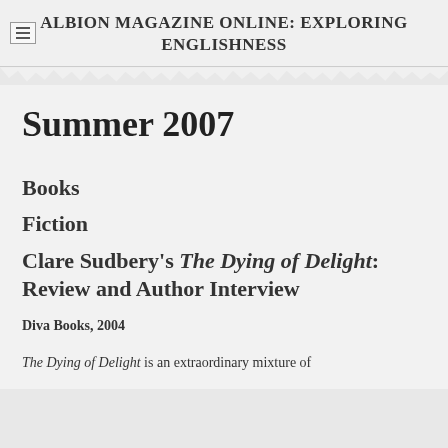ALBION MAGAZINE ONLINE: EXPLORING ENGLISHNESS
Summer 2007
Books
Fiction
Clare Sudbery's The Dying of Delight: Review and Author Interview
Diva Books, 2004
The Dying of Delight is an extraordinary mixture of the ordinary, a love for literature, and I think I can see if it